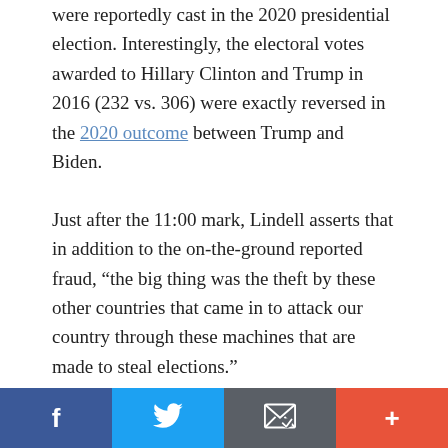were reportedly cast in the 2020 presidential election. Interestingly, the electoral votes awarded to Hillary Clinton and Trump in 2016 (232 vs. 306) were exactly reversed in the 2020 outcome between Trump and Biden.
Just after the 11:00 mark, Lindell asserts that in addition to the on-the-ground reported fraud, “the big thing was the theft by these other countries that came in to attack our country through these machines that are made to steal elections.”
At the one hour, 36-minute mark in the documentary, Lindell introduces Mary Fanning of The American
[Figure (infographic): Social sharing bar with four buttons: Facebook (blue, f icon), Twitter (light blue, bird icon), Email (gray, envelope icon), More (orange-red, plus icon)]